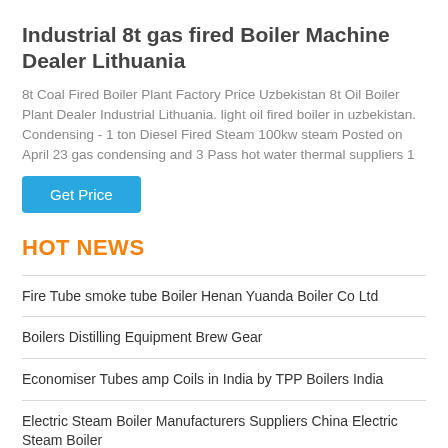Industrial 8t gas fired Boiler Machine Dealer Lithuania
8t Coal Fired Boiler Plant Factory Price Uzbekistan 8t Oil Boiler Plant Dealer Industrial Lithuania. light oil fired boiler in uzbekistan. Condensing - 1 ton Diesel Fired Steam 100kw steam Posted on April 23 gas condensing and 3 Pass hot water thermal suppliers 1
Get Price
HOT NEWS
Fire Tube smoke tube Boiler Henan Yuanda Boiler Co Ltd
Boilers Distilling Equipment Brew Gear
Economiser Tubes amp Coils in India by TPP Boilers India
Electric Steam Boiler Manufacturers Suppliers China Electric Steam Boiler